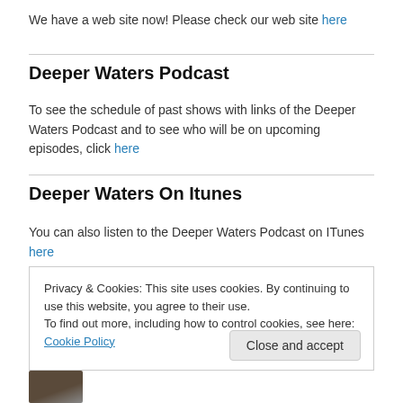We have a web site now! Please check our web site here
Deeper Waters Podcast
To see the schedule of past shows with links of the Deeper Waters Podcast and to see who will be on upcoming episodes, click here
Deeper Waters On Itunes
You can also listen to the Deeper Waters Podcast on ITunes here
Privacy & Cookies: This site uses cookies. By continuing to use this website, you agree to their use.
To find out more, including how to control cookies, see here: Cookie Policy
[Figure (photo): Thumbnail photo of a person]